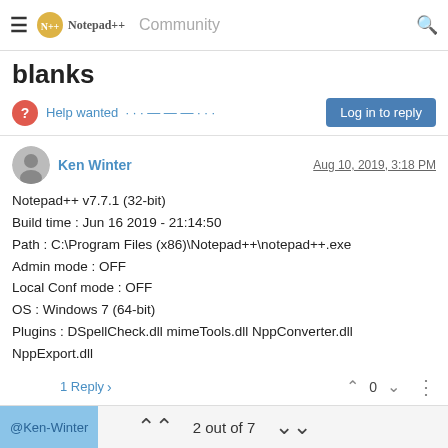≡ Notepad++ Community 🔍
blanks
Help wanted · · · — — — · · ·
Log in to reply
Ken Winter   Aug 10, 2019, 3:18 PM
Notepad++ v7.7.1 (32-bit)
Build time : Jun 16 2019 - 21:14:50
Path : C:\Program Files (x86)\Notepad++\notepad++.exe
Admin mode : OFF
Local Conf mode : OFF
OS : Windows 7 (64-bit)
Plugins : DSpellCheck.dll mimeTools.dll NppConverter.dll NppExport.dll
1 Reply >   0
Alan Kilborn   Aug 10, 2019, 3:41 PM
@Ken-Winter   2 out of 7